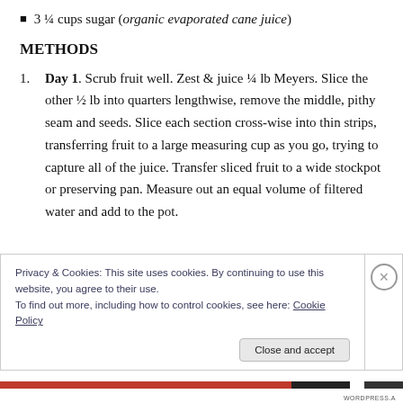3 ¼ cups sugar (organic evaporated cane juice)
METHODS
Day 1. Scrub fruit well. Zest & juice ¼ lb Meyers. Slice the other ½ lb into quarters lengthwise, remove the middle, pithy seam and seeds. Slice each section cross-wise into thin strips, transferring fruit to a large measuring cup as you go, trying to capture all of the juice. Transfer sliced fruit to a wide stockpot or preserving pan. Measure out an equal volume of filtered water and add to the pot.
Privacy & Cookies: This site uses cookies. By continuing to use this website, you agree to their use.
To find out more, including how to control cookies, see here: Cookie Policy
Close and accept